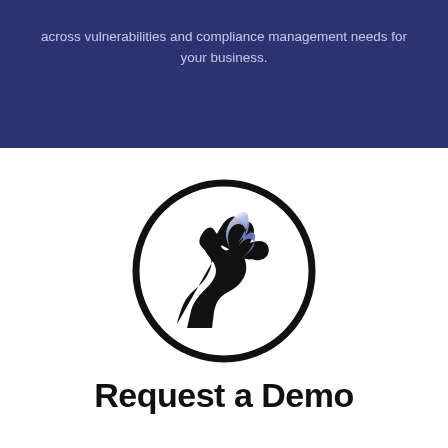across vulnerabilities and compliance management needs for your business.
[Figure (logo): A howling wolf inside a circle logo, with a blue-purple feather/wing element. The wolf silhouette is dark/black and the feather is gradient blue-white-purple.]
Request a Demo